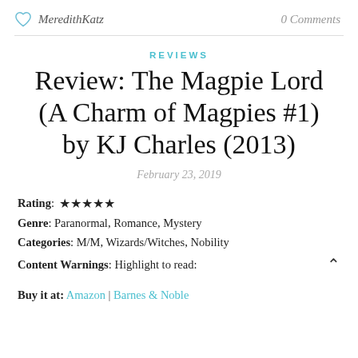MeredithKatz   0 Comments
REVIEWS
Review: The Magpie Lord (A Charm of Magpies #1) by KJ Charles (2013)
February 23, 2019
Rating: ★★★★★
Genre: Paranormal, Romance, Mystery
Categories: M/M, Wizards/Witches, Nobility
Content Warnings: Highlight to read:
Buy it at: Amazon | Barnes & Noble